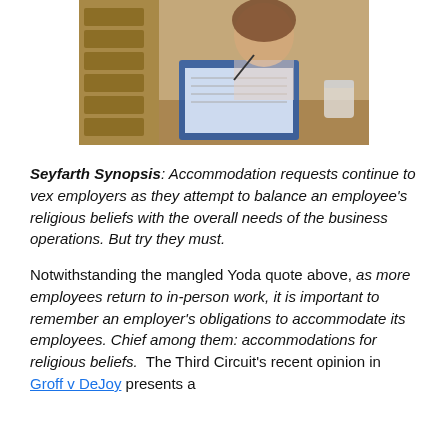[Figure (photo): Person writing on clipboard or paper at a desk with wooden furniture and office items in the background.]
Seyfarth Synopsis: Accommodation requests continue to vex employers as they attempt to balance an employee’s religious beliefs with the overall needs of the business operations. But try they must.
Notwithstanding the mangled Yoda quote above, as more employees return to in-person work, it is important to remember an employer’s obligations to accommodate its employees. Chief among them: accommodations for religious beliefs.  The Third Circuit's recent opinion in Groff v DeJoy presents a